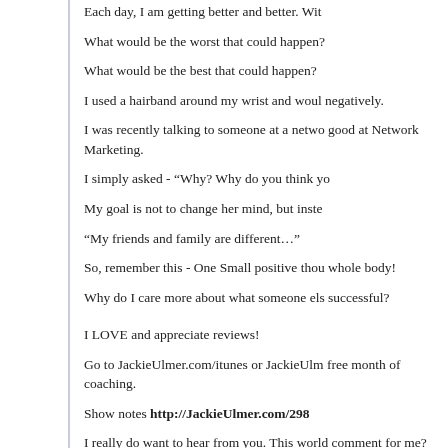Each day, I am getting better and better. Wit
What would be the worst that could happen?
What would be the best that could happen?
I used a hairband around my wrist and woul negatively.
I was recently talking to someone at a netwo good at Network Marketing.
I simply asked - "Why? Why do you think yo
My goal is not to change her mind, but inste
“My friends and family are different…”
So, remember this - One Small positive thou whole body!
Why do I care more about what someone els successful?
I LOVE and appreciate reviews!
Go to JackieUlmer.com/itunes or JackieUlm free month of coaching.
Show notes http://JackieUlmer.com/298
I really do want to hear from you. This world comment for me? Feedback for the show?